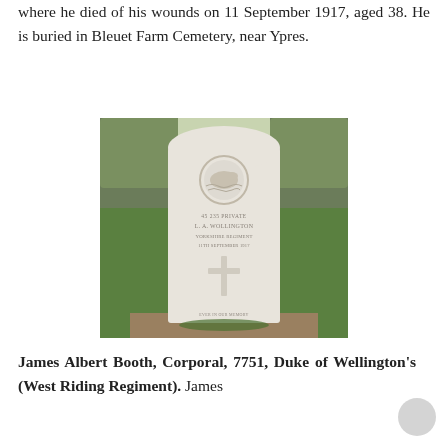where he died of his wounds on 11 September 1917, aged 38. He is buried in Bleuet Farm Cemetery, near Ypres.
[Figure (photo): Photograph of a white Commonwealth War Graves Commission headstone in a cemetery. The stone features a circular regimental badge at the top, engraved text in the middle (partially legible: Private, name, date 11 September 1917), a Christian cross below the text, and an inscription at the base. Green grass and hedges visible in the background.]
James Albert Booth, Corporal, 7751, Duke of Wellington's (West Riding Regiment). James